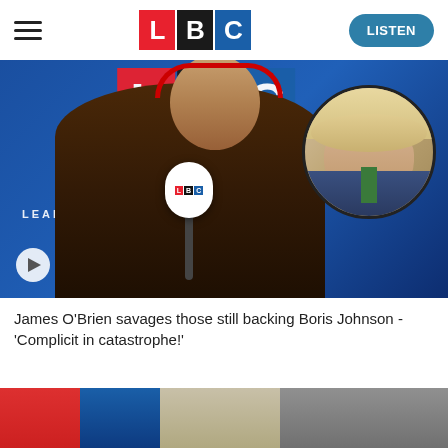LBC — LISTEN
[Figure (photo): Screenshot of LBC radio show with James O'Brien at microphone and circular inset portrait of Boris Johnson with disheveled blond hair]
James O'Brien savages those still backing Boris Johnson - 'Complicit in catastrophe!'
[Figure (photo): Bottom strip showing partial image with red and blue colors]